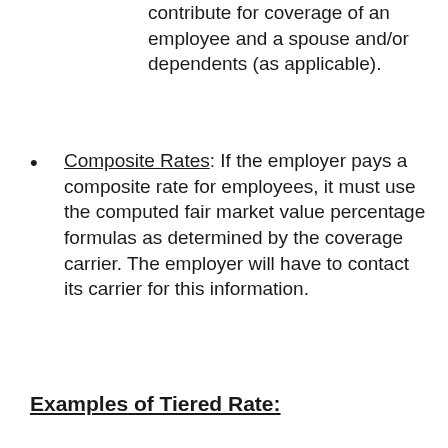contribute for coverage of an employee and a spouse and/or dependents (as applicable).
Composite Rates: If the employer pays a composite rate for employees, it must use the computed fair market value percentage formulas as determined by the coverage carrier. The employer will have to contact its carrier for this information.
Examples of Tiered Rate: